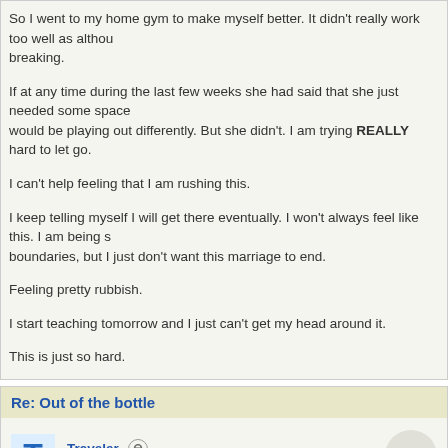So I went to my home gym to make myself better. It didn't really work too well as althou... breaking.
If at any time during the last few weeks she had said that she just needed some space... would be playing out differently. But she didn't. I am trying REALLY hard to let go.
I can't help feeling that I am rushing this.
I keep telling myself I will get there eventually. I won't always feel like this. I am being s... boundaries, but I just don't want this marriage to end.
Feeling pretty rubbish.
I start teaching tomorrow and I just can't get my head around it.
This is just so hard.
Re: Out of the bottle
Traveler — Member
Hi Magnhild,